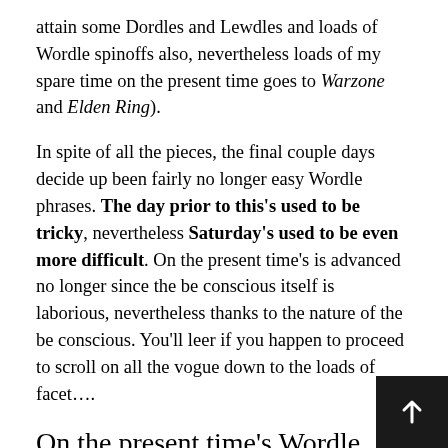attain some Dordles and Lewdles and loads of Wordle spinoffs also, nevertheless loads of my spare time on the present time goes to Warzone and Elden Ring).
In spite of all the pieces, the final couple days decide up been fairly no longer easy Wordle phrases. The day prior to this's used to be tricky, nevertheless Saturday's used to be even more difficult. On the present time's is advanced no longer since the be conscious itself is laborious, nevertheless thanks to the nature of the be conscious. You'll leer if you happen to proceed to scroll on all the vogue down to the loads of facet….
On the present time's Wordle #282 Acknowledge
Naturally, earlier than we spoil on thru to the under half of of this post, I ought to warn you of the artic